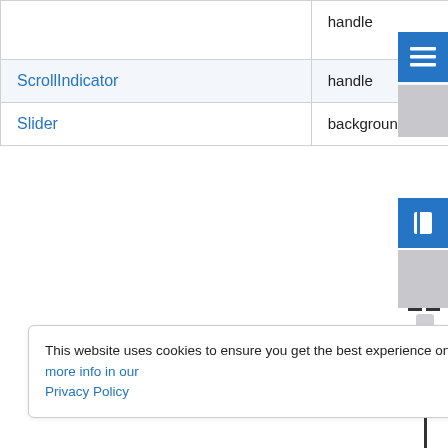| Component | Part | State/Variant | Preview |
| --- | --- | --- | --- |
|  | handle | interactive, hovered |  |
| ScrollIndicator | handle |  |  |
| Slider | background | vertical |  |
This website uses cookies to ensure you get the best experience on our website. Find more info in our Privacy Policy
Got it!